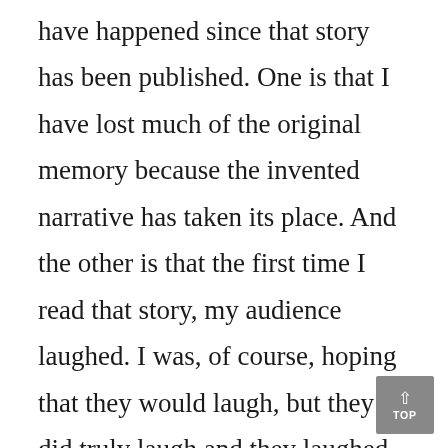have happened since that story has been published. One is that I have lost much of the original memory because the invented narrative has taken its place. And the other is that the first time I read that story, my audience laughed. I was, of course, hoping that they would laugh, but they did truly laugh and they laughed not just once but